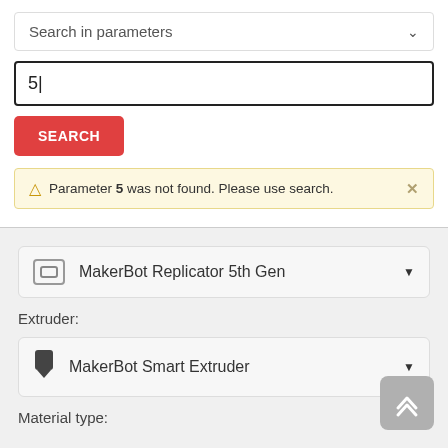Search in parameters
5
SEARCH
Parameter 5 was not found. Please use search.
MakerBot Replicator 5th Gen
Extruder:
MakerBot Smart Extruder
Material type: